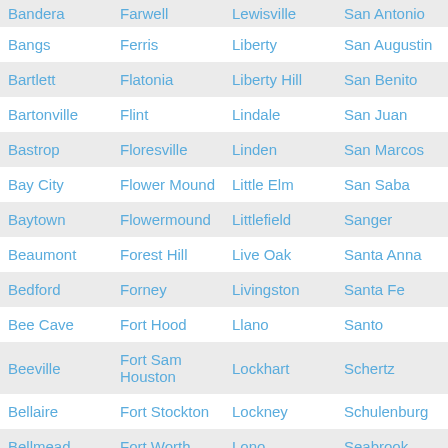| Bandera | Farwell | Lewisville | San Antonio |
| Bangs | Ferris | Liberty | San Augustin |
| Bartlett | Flatonia | Liberty Hill | San Benito |
| Bartonville | Flint | Lindale | San Juan |
| Bastrop | Floresville | Linden | San Marcos |
| Bay City | Flower Mound | Little Elm | San Saba |
| Baytown | Flowermound | Littlefield | Sanger |
| Beaumont | Forest Hill | Live Oak | Santa Anna |
| Bedford | Forney | Livingston | Santa Fe |
| Bee Cave | Fort Hood | Llano | Santo |
| Beeville | Fort Sam Houston | Lockhart | Schertz |
| Bellaire | Fort Stockton | Lockney | Schulenburg |
| Bellmead | Fort Worth | Lono | Seabrook |